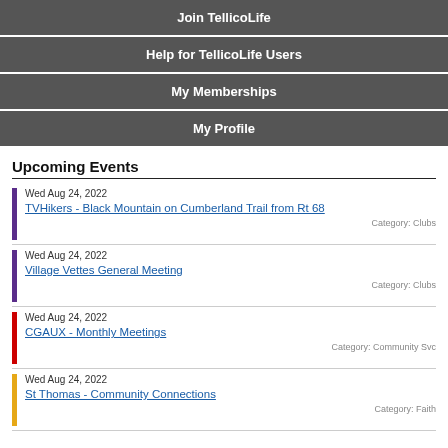Join TellicoLife
Help for TellicoLife Users
My Memberships
My Profile
Upcoming Events
Wed Aug 24, 2022
TVHikers - Black Mountain on Cumberland Trail from Rt 68
Category: Clubs
Wed Aug 24, 2022
Village Vettes General Meeting
Category: Clubs
Wed Aug 24, 2022
CGAUX - Monthly Meetings
Category: Community Svc
Wed Aug 24, 2022
St Thomas - Community Connections
Category: Faith